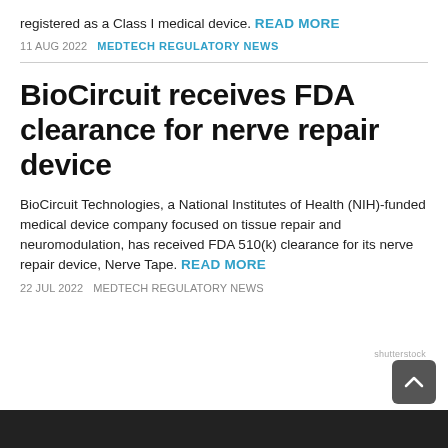registered as a Class I medical device. READ MORE
11 AUG 2022   MEDTECH REGULATORY NEWS
BioCircuit receives FDA clearance for nerve repair device
BioCircuit Technologies, a National Institutes of Health (NIH)-funded medical device company focused on tissue repair and neuromodulation, has received FDA 510(k) clearance for its nerve repair device, Nerve Tape. READ MORE
22 JUL 2022   MEDTECH REGULATORY NEWS